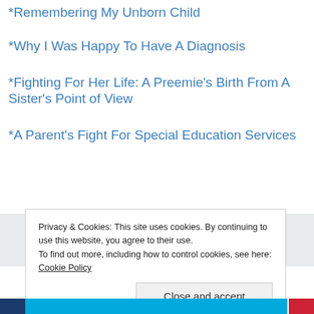*Remembering My Unborn Child
*Why I Was Happy To Have A Diagnosis
*Fighting For Her Life: A Preemie's Birth From A Sister's Point of View
*A Parent's Fight For Special Education Services
Privacy & Cookies: This site uses cookies. By continuing to use this website, you agree to their use.
To find out more, including how to control cookies, see here:
Cookie Policy
Close and accept